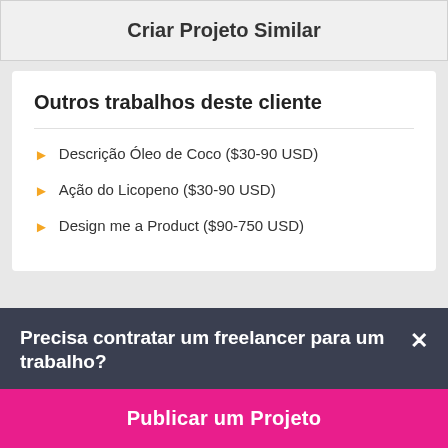Criar Projeto Similar
Outros trabalhos deste cliente
Descrição Óleo de Coco ($30-90 USD)
Ação do Licopeno ($30-90 USD)
Design me a Product ($90-750 USD)
Precisa contratar um freelancer para um trabalho?
Publicar um Projeto